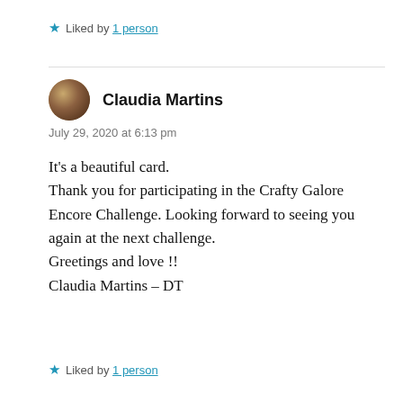★ Liked by 1 person
Claudia Martins
July 29, 2020 at 6:13 pm
It's a beautiful card.
Thank you for participating in the Crafty Galore Encore Challenge. Looking forward to seeing you again at the next challenge.
Greetings and love !!
Claudia Martins – DT
★ Liked by 1 person